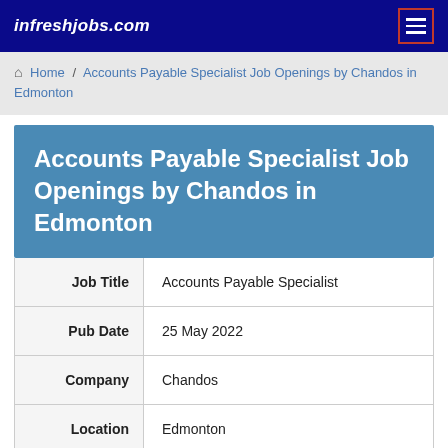infreshjobs.com
Home / Accounts Payable Specialist Job Openings by Chandos in Edmonton
Accounts Payable Specialist Job Openings by Chandos in Edmonton
| Field | Value |
| --- | --- |
| Job Title | Accounts Payable Specialist |
| Pub Date | 25 May 2022 |
| Company | Chandos |
| Location | Edmonton |